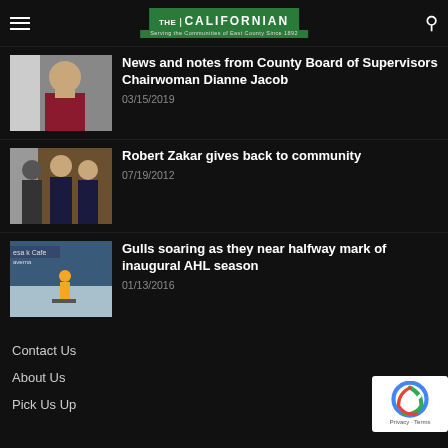The Californian — Serving the Communities of East County Since 1892
News and notes from County Board of Supervisors Chairwoman Dianne Jacob
03/15/2019
Robert Zakar gives back to community
07/19/2012
Gulls soaring as they near halfway mark of inaugural AHL season
01/13/2016
Contact Us
About Us
Pick Us Up